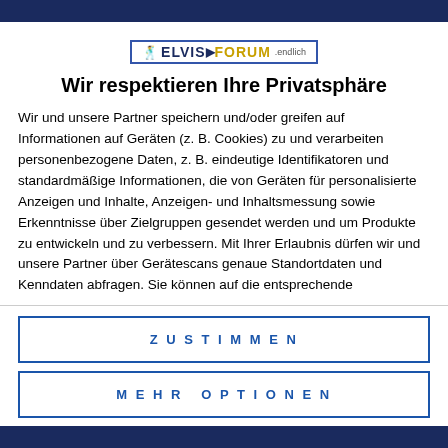[Figure (logo): Elvis Forum logo with figure silhouette, blue and yellow text]
Wir respektieren Ihre Privatsphäre
Wir und unsere Partner speichern und/oder greifen auf Informationen auf Geräten (z. B. Cookies) zu und verarbeiten personenbezogene Daten, z. B. eindeutige Identifikatoren und standardmäßige Informationen, die von Geräten für personalisierte Anzeigen und Inhalte, Anzeigen- und Inhaltsmessung sowie Erkenntnisse über Zielgruppen gesendet werden und um Produkte zu entwickeln und zu verbessern. Mit Ihrer Erlaubnis dürfen wir und unsere Partner über Gerätescans genaue Standortdaten und Kenndaten abfragen. Sie können auf die entsprechende Schaltfläche klicken, um der o. a. Datenverarbeitung durch uns und unsere Partner zuzustimmen.
ZUSTIMMEN
MEHR OPTIONEN